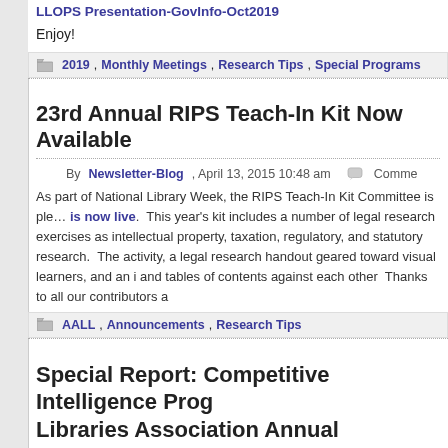LLOPS Presentation-GovInfo-Oct2019
Enjoy!
2019, Monthly Meetings, Research Tips, Special Programs
23rd Annual RIPS Teach-In Kit Now Available
By Newsletter-Blog, April 13, 2015 10:48 am  Comments
As part of National Library Week, the RIPS Teach-In Kit Committee is pleased to announce that the kit is now live.  This year's kit includes a number of legal research exercises covering topics such as intellectual property, taxation, regulatory, and statutory research.  The kit also features an audio-recorded activity, a legal research handout geared toward visual learners, and an infographic comparing indexes and tables of contents against each other  Thanks to all our contributors a
AALL, Announcements, Research Tips
Special Report: Competitive Intelligence Program at the American Association of Law Libraries Annual Conference
By  Comments Off on Special Report: Competitive Intelligence Program a  Newsletter-Blog, June 30, 2014 1:26 pm